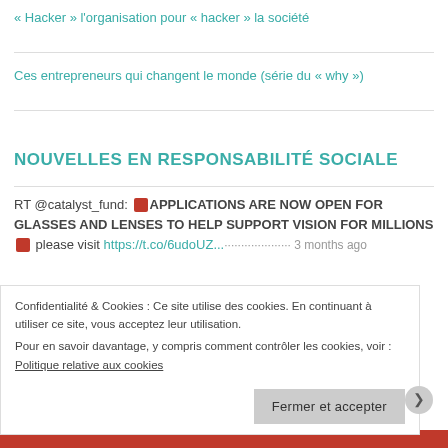« Hacker » l'organisation pour « hacker » la société
Ces entrepreneurs qui changent le monde (série du « why »)
NOUVELLES EN RESPONSABILITÉ SOCIALE
RT @catalyst_fund: 🔴 APPLICATIONS ARE NOW OPEN FOR GLASSES AND LENSES TO HELP SUPPORT VISION FOR MILLIONS 🔴 please visit https://t.co/6udoUZ... 3 months ago
Confidentialité & Cookies : Ce site utilise des cookies. En continuant à utiliser ce site, vous acceptez leur utilisation.
Pour en savoir davantage, y compris comment contrôler les cookies, voir :
Politique relative aux cookies
Fermer et accepter